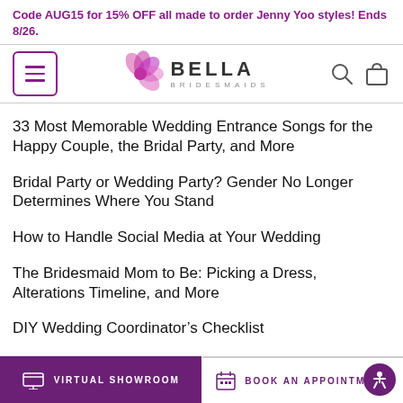Code AUG15 for 15% OFF all made to order Jenny Yoo styles! Ends 8/26.
[Figure (logo): Bella Bridesmaids logo with pink flower graphic, BELLA text in bold and BRIDESMAIDS subtitle, hamburger menu icon on left, search and bag icons on right]
33 Most Memorable Wedding Entrance Songs for the Happy Couple, the Bridal Party, and More
Bridal Party or Wedding Party? Gender No Longer Determines Where You Stand
How to Handle Social Media at Your Wedding
The Bridesmaid Mom to Be: Picking a Dress, Alterations Timeline, and More
DIY Wedding Coordinator’s Checklist
15 Wedding Invitation Ideas for Your Guests
19 Best Hip Hop and R&B Wedding Songs
VIRTUAL SHOWROOM   BOOK AN APPOINTMENT